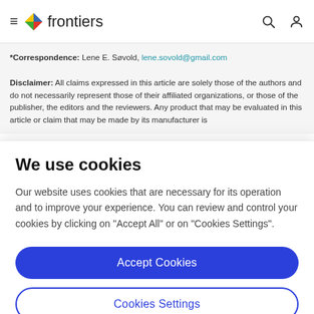frontiers
*Correspondence: Lene E. Søvold, lene.sovold@gmail.com
Disclaimer: All claims expressed in this article are solely those of the authors and do not necessarily represent those of their affiliated organizations, or those of the publisher, the editors and the reviewers. Any product that may be evaluated in this article or claim that may be made by its manufacturer is
We use cookies
Our website uses cookies that are necessary for its operation and to improve your experience. You can review and control your cookies by clicking on "Accept All" or on "Cookies Settings".
Accept Cookies
Cookies Settings